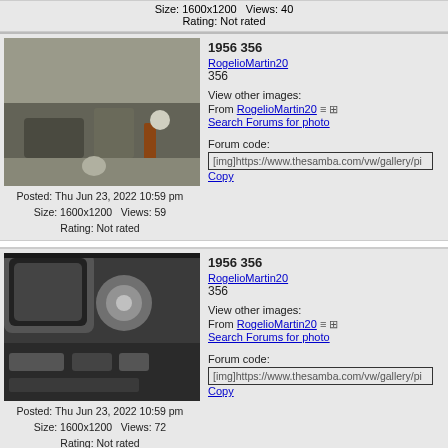Size: 1600x1200  Views: 40
Rating: Not rated
[Figure (photo): Interior floor/pedal area of a 1956 VW 356, showing carpet and gear shift]
Posted: Thu Jun 23, 2022 10:59 pm
Size: 1600x1200  Views: 59
Rating: Not rated
1956 356
RogelioMartin20
356
View other images:
From RogelioMartin20
Search Forums for photo
Forum code:
[img]https://www.thesamba.com/vw/gallery/pi
Copy
[Figure (photo): Dashboard/instrument area of a 1956 VW 356]
Posted: Thu Jun 23, 2022 10:59 pm
Size: 1600x1200  Views: 72
Rating: Not rated
1956 356
RogelioMartin20
356
View other images:
From RogelioMartin20
Search Forums for photo
Forum code:
[img]https://www.thesamba.com/vw/gallery/pi
Copy